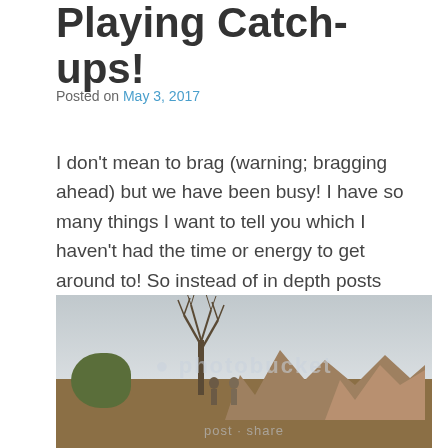Playing Catch-ups!
Posted on May 3, 2017
I don't mean to brag (warning; bragging ahead) but we have been busy! I have so many things I want to tell you which I haven't had the time or energy to get around to! So instead of in depth posts about everything, I'm going to do one giant catch up post. And lucky you, you're reading it right now!
[Figure (photo): Outdoor landscape photo showing a bare tree, rocky formations, scrubland, and an overcast grey sky. A photobucket watermark is visible.]